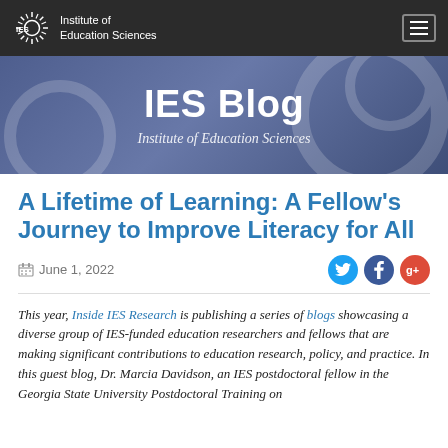IES | Institute of Education Sciences
IES Blog
Institute of Education Sciences
A Lifetime of Learning: A Fellow's Journey to Improve Literacy for All
June 1, 2022
This year, Inside IES Research is publishing a series of blogs showcasing a diverse group of IES-funded education researchers and fellows that are making significant contributions to education research, policy, and practice. In this guest blog, Dr. Marcia Davidson, an IES postdoctoral fellow in the Georgia State University Postdoctoral Training on